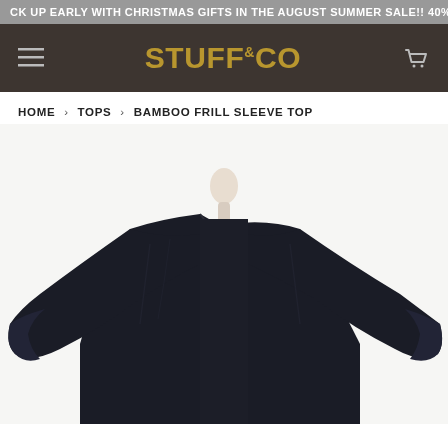CK UP EARLY WITH CHRISTMAS GIFTS IN THE AUGUST SUMMER SALE!! 40%
[Figure (logo): Stuff & Co logo in gold on dark brown background with hamburger menu and cart icon]
HOME › TOPS › BAMBOO FRILL SLEEVE TOP
[Figure (photo): A dark navy bamboo frill sleeve top on a mannequin, shown from the front, against a white background. The top features a scoop neck and wide frill sleeves.]